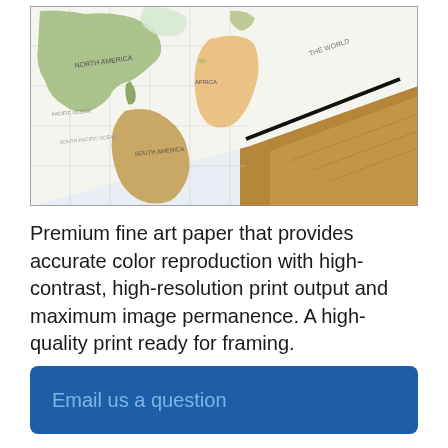[Figure (photo): Close-up photograph of a world map print laid on a cork/wooden surface, showing the Americas, Atlantic Ocean, Africa and parts of Europe. The map has a black frame border visible at the bottom right, and is printed on white paper with colored continents.]
Premium fine art paper that provides accurate color reproduction with high-contrast, high-resolution print output and maximum image permanence. A high-quality print ready for framing.
Email us a question